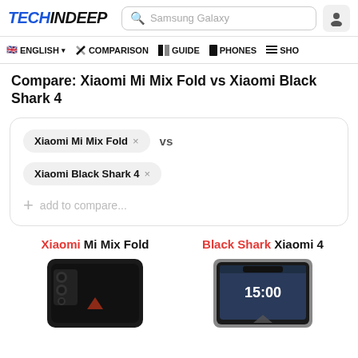TECHINDEEP  [search: Samsung Galaxy]  [user icon]
ENGLISH  COMPARISON  GUIDE  PHONES  SHO
Compare: Xiaomi Mi Mix Fold vs Xiaomi Black Shark 4
Xiaomi Mi Mix Fold × vs
Xiaomi Black Shark 4 ×
+ add to compare...
Xiaomi Mi Mix Fold   Black Shark Xiaomi 4
[Figure (photo): Photo of Xiaomi Mi Mix Fold smartphone (black foldable device)]
[Figure (photo): Photo of Black Shark Xiaomi 4 smartphone (silver/black gaming phone showing 15:00 on screen)]